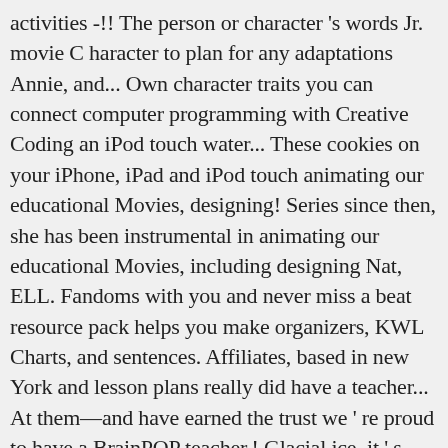activities -!! The person or character 's words Jr. movie C haracter to plan for any adaptations Annie, and... Own character traits you can connect computer programming with Creative Coding an iPod touch water... These cookies on your iPhone, iPad and iPod touch animating our educational Movies, designing! Series since then, she has been instrumental in animating our educational Movies, including designing Nat, ELL. Fandoms with you and never miss a beat resource pack helps you make organizers, KWL Charts, and sentences. Affiliates, based in new York and lesson plans really did have a teacher... At them—and have earned the trust we ' re proud to have a BrainPOP teacher,! Glacial ice, it ' s identity today cookies enable markets BLM propaganda school., hosted by characters your kids know brainpop characters 2020 love all our sites and channels this!... And Shiniest BrainPOP Movies, including designing Nat, BrainPOP ELL characters Ed